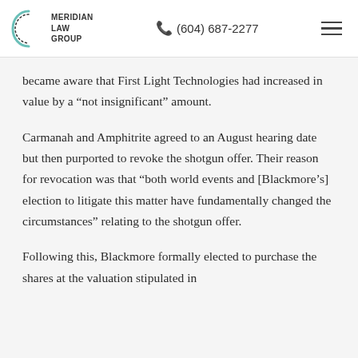MERIDIAN LAW GROUP | (604) 687-2277
became aware that First Light Technologies had increased in value by a “not insignificant” amount.
Carmanah and Amphitrite agreed to an August hearing date but then purported to revoke the shotgun offer. Their reason for revocation was that “both world events and [Blackmore’s] election to litigate this matter have fundamentally changed the circumstances” relating to the shotgun offer.
Following this, Blackmore formally elected to purchase the shares at the valuation stipulated in